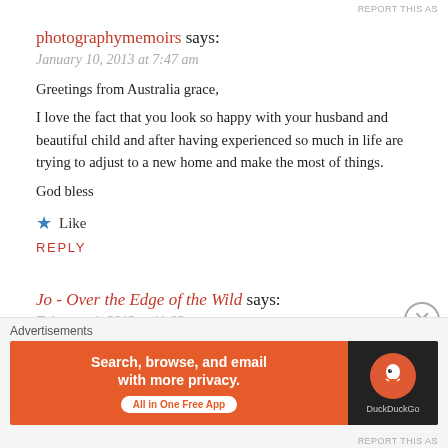REPORT THIS AS
photographymemoirs says:
January 10, 2013 at 7:47 am
Greetings from Australia grace,
I love the fact that you look so happy with your husband and beautiful child and after having experienced so much in life are trying to adjust to a new home and make the most of things.
God bless
★ Like
REPLY
Jo - Over the Edge of the Wild says:
February 1, 2013 at 11:02 am
Hi G
Advertisements
[Figure (screenshot): DuckDuckGo advertisement banner: 'Search, browse, and email with more privacy. All in One Free App' with DuckDuckGo logo on dark background.]